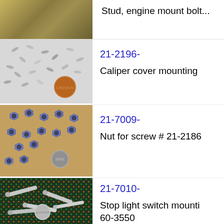[Figure (photo): Top partial row - screws/stud with dollar bill background, cropped at top]
[Figure (photo): Small silver screws scattered with a penny for scale on white background]
21-2196-
Caliper cover mounting
[Figure (photo): Blue/silver hex nuts scattered with a dime for scale on wooden surface]
21-7009-
Nut for screw # 21-2186
[Figure (photo): Screws on green circuit board mesh background with a quarter for scale]
21-7010-
Stop light switch mounting 60-3550